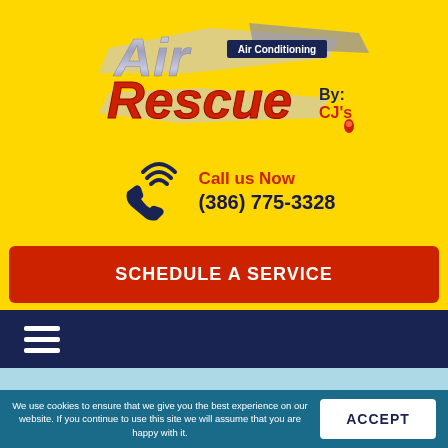[Figure (logo): Air Rescue Air Conditioning By CJ's logo with stylized text in red, silver/chrome, and dark blue on yellow background]
Call us Now
(386) 775-3328
SCHEDULE A SERVICE
We use cookies to ensure that we give you the best experience on our website. If you continue to use this site we will assume that you are happy with it.
ACCEPT